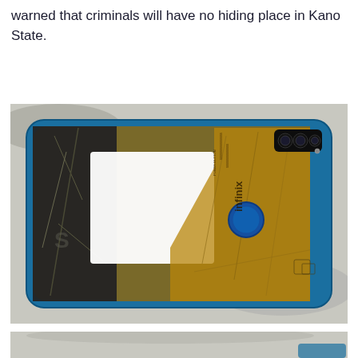warned that criminals will have no hiding place in Kano State.
[Figure (photo): Back of a blue Infinix smartphone with cracked protective film and scratched casing, showing camera module in top-right corner and fingerprint sensor, placed on a light surface.]
[Figure (photo): Partial view of another item on a light surface, partially cropped at the bottom of the page.]